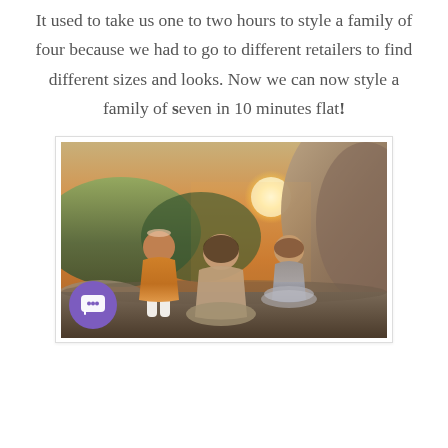It used to take us one to two hours to style a family of four because we had to go to different retailers to find different sizes and looks. Now we can now style a family of seven in 10 minutes flat!
[Figure (photo): Outdoor golden hour photo of a mother kneeling on a rock with two young daughters, one in an orange dress kissing the mother's cheek, one in a gray tutu dress standing to the right. Rocky landscape with trees and sunset in background.]